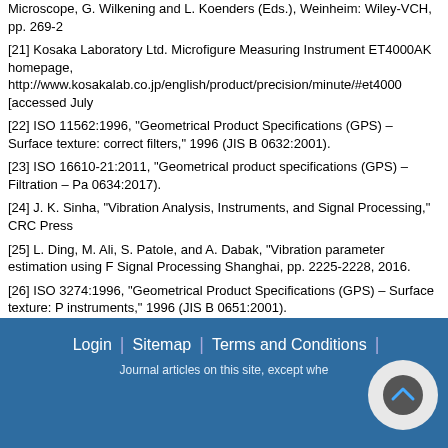[21] Kosaka Laboratory Ltd. Microfigure Measuring Instrument ET4000AK homepage, http://www.kosakalab.co.jp/english/product/precision/minute/#et4000 [accessed July
[22] ISO 11562:1996, “Geometrical Product Specifications (GPS) – Surface texture: correct filters,” 1996 (JIS B 0632:2001).
[23] ISO 16610-21:2011, “Geometrical product specifications (GPS) – Filtration – Pa 0634:2017).
[24] J. K. Sinha, “Vibration Analysis, Instruments, and Signal Processing,” CRC Press
[25] L. Ding, M. Ali, S. Patole, and A. Dabak, “Vibration parameter estimation using F Signal Processing Shanghai, pp. 2225-2228, 2016.
[26] ISO 3274:1996, “Geometrical Product Specifications (GPS) – Surface texture: P instruments,” 1996 (JIS B 0651:2001).
This article is published under a Creative Commons Attribution-NoD
*This site is desgined based on HTML5 and CSS3 for modern browsers, e.g. Chrome
Login | Sitemap | Terms and Conditions | Journal articles on this site, except whe